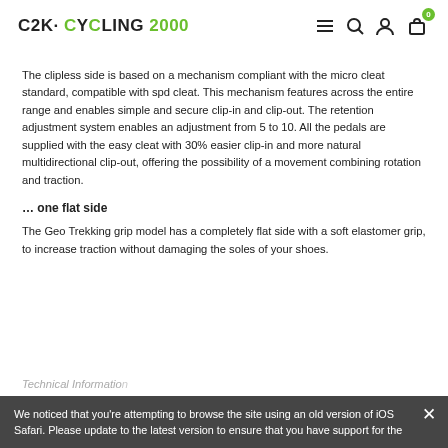C2K · CYCLING 2000
The clipless side is based on a mechanism compliant with the micro cleat standard, compatible with spd cleat. This mechanism features across the entire range and enables simple and secure clip-in and clip-out. The retention adjustment system enables an adjustment from 5 to 10. All the pedals are supplied with the easy cleat with 30% easier clip-in and more natural multidirectional clip-out, offering the possibility of a movement combining rotation and traction.
… one flat side
The Geo Trekking grip model has a completely flat side with a soft elastomer grip, to increase traction without damaging the soles of your shoes.
Technical Information
We noticed that you're attempting to browse the site using an old version of iOS Safari. Please update to the latest version to ensure that you have support for the